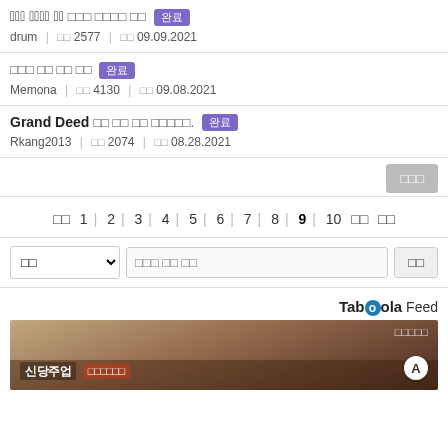□□□ □□□□ □□ 완료
drum | □□ 2577 | □□ 09.09.2021
□□□ □□ □□ □□ 완료
Memona | □□ 4130 | □□ 09.08.2021
Grand Deed □□ □□ □□ □□□□□. 완료
Rkang2013 | □□ 2074 | □□ 08.28.2021
글쓰기 button
처음 1 | 2 | 3 | 4 | 5 | 6 | 7 | 8 | 9 | 10 마지막 다음
Search bar: 분류 dropdown | 검색어 입력 | 검색
Taboola Feed
[Figure (photo): Taboola feed advertisement image showing a food/restaurant scene with Korean text overlay]